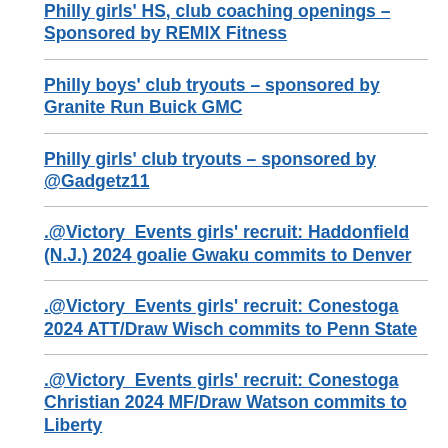Philly girls' HS, club coaching openings – Sponsored by REMIX Fitness
Philly boys' club tryouts – sponsored by Granite Run Buick GMC
Philly girls' club tryouts – sponsored by @Gadgetz11
.@Victory_Events girls' recruit: Haddonfield (N.J.) 2024 goalie Gwaku commits to Denver
.@Victory_Events girls' recruit: Conestoga 2024 ATT/Draw Wisch commits to Penn State
.@Victory_Events girls' recruit: Conestoga Christian 2024 MF/Draw Watson commits to Liberty